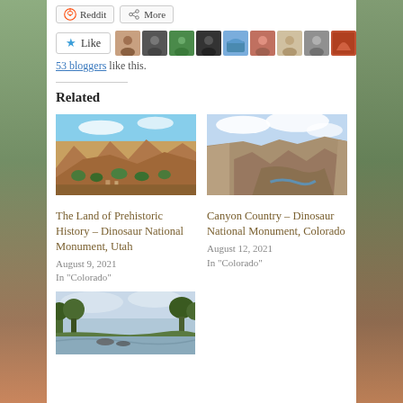[Figure (other): Row of share buttons: Reddit and More]
[Figure (other): Like button with 10 blogger avatar thumbnails]
53 bloggers like this.
Related
[Figure (photo): Landscape photo of Dinosaur National Monument Utah showing red rock formations and green trees]
The Land of Prehistoric History – Dinosaur National Monument, Utah
August 9, 2021
In "Colorado"
[Figure (photo): Aerial canyon photo from Dinosaur National Monument Colorado showing river gorge]
Canyon Country – Dinosaur National Monument, Colorado
August 12, 2021
In "Colorado"
[Figure (photo): River scene with rafters and trees, partially visible at bottom]